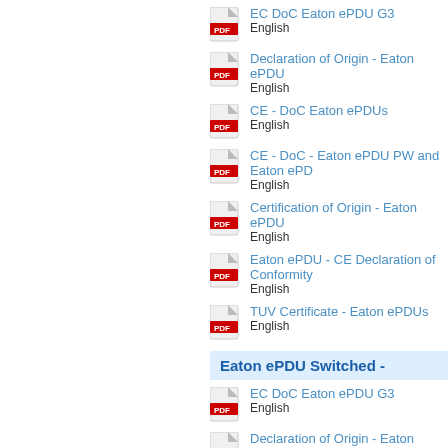EC DoC Eaton ePDU G3
English
Declaration of Origin - Eaton ePDU
English
CE - DoC Eaton ePDUs
English
CE - DoC - Eaton ePDU PW and Eaton ePD
English
Certification of Origin - Eaton ePDU
English
Eaton ePDU - CE Declaration of Conformity
English
TUV Certificate - Eaton ePDUs
English
Eaton ePDU Switched -
EC DoC Eaton ePDU G3
English
Declaration of Origin - Eaton ePDU
English
CE - DoC Eaton ePDUs
English
Certification of Origin - Eaton ePDU
English
Eaton ePDU - CE Declaration of Conformity
English